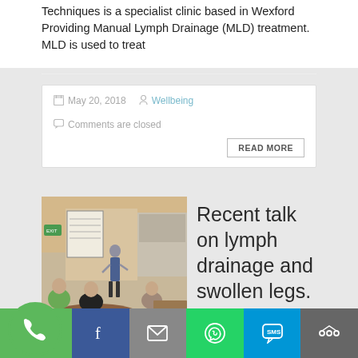Techniques is a specialist clinic based in Wexford Providing Manual Lymph Drainage (MLD) treatment. MLD is used to treat
May 20, 2018  Wellbeing  Comments are closed
[Figure (photo): A presenter standing at the front of a room with an audience seated at tables, with a whiteboard and kitchen area visible in the background.]
Recent talk on lymph drainage and swollen legs.
Better Business Breakfast meeting I had the honour of being speaker on the 3rd of May at the Better Business
Phone, Facebook, Mail, WhatsApp, SMS, More share icons